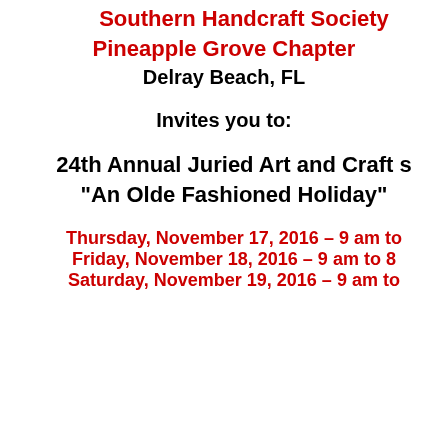Southern Handcraft Society
Pineapple Grove Chapter
Delray Beach, FL
Invites you to:
24th Annual Juried Art and Craft s
“An Olde Fashioned Holiday”
Thursday, November 17, 2016 – 9 am to
Friday, November 18, 2016 – 9 am to 8
Saturday, November 19, 2016 – 9 am to